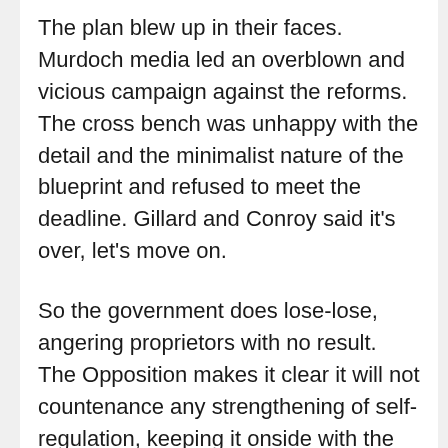The plan blew up in their faces. Murdoch media led an overblown and vicious campaign against the reforms. The cross bench was unhappy with the detail and the minimalist nature of the blueprint and refused to meet the deadline. Gillard and Conroy said it's over, let's move on.
So the government does lose-lose, angering proprietors with no result. The Opposition makes it clear it will not countenance any strengthening of self-regulation, keeping it onside with the Murdoch media. The chance is lost.
The real losers are the people and good journos who need to be empowered by some accountability for bad journos. As Julian Disney